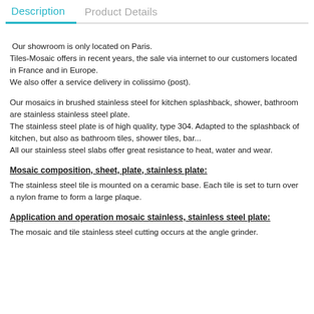Description | Product Details
Our showroom is only located on Paris.
Tiles-Mosaic offers in recent years, the sale via internet to our customers located in France and in Europe.
We also offer a service delivery in colissimo (post).
Our mosaics in brushed stainless steel for kitchen splashback, shower, bathroom are stainless stainless steel plate.
The stainless steel plate is of high quality, type 304. Adapted to the splashback of kitchen, but also as bathroom tiles, shower tiles, bar...
All our stainless steel slabs offer great resistance to heat, water and wear.
Mosaic composition, sheet, plate, stainless plate:
The stainless steel tile is mounted on a ceramic base. Each tile is set to turn over a nylon frame to form a large plaque.
Application and operation mosaic stainless, stainless steel plate:
The mosaic and tile stainless steel cutting occurs at the angle grinder.